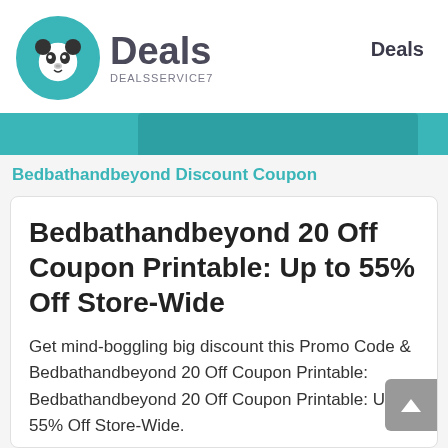Deals DEALSSERVICE7 | Deals
Bedbathandbeyond Discount Coupon
Bedbathandbeyond 20 Off Coupon Printable: Up to 55% Off Store-Wide
Get mind-boggling big discount this Promo Code & Bedbathandbeyond 20 Off Coupon Printable: Bedbathandbeyond 20 Off Coupon Printable: Up to 55% Off Store-Wide.